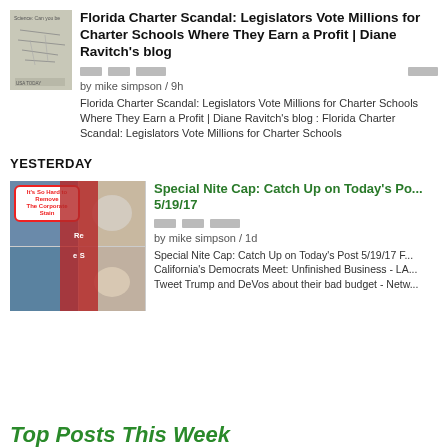Florida Charter Scandal: Legislators Vote Millions for Charter Schools Where They Earn a Profit | Diane Ravitch's blog
by mike simpson / 9h
Florida Charter Scandal: Legislators Vote Millions for Charter Schools Where They Earn a Profit | Diane Ravitch's blog : Florida Charter Scandal: Legislators Vote Millions for Charter Schools
YESTERDAY
Special Nite Cap: Catch Up on Today's Po... 5/19/17
by mike simpson / 1d
Special Nite Cap: Catch Up on Today's Post 5/19/17 F... California's Democrats Meet: Unfinished Business - LA... Tweet Trump and DeVos about their bad budget - Netw...
Top Posts This Week